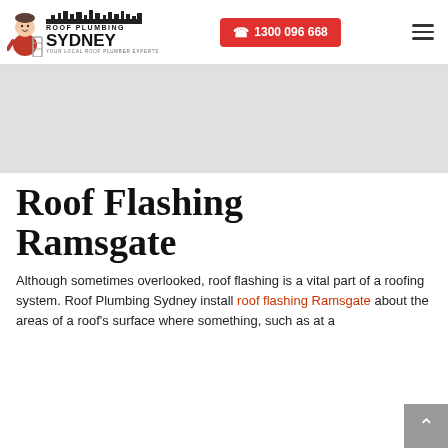Roof Plumbing Sydney | 1300 096 668
[Figure (photo): Gray placeholder hero image banner]
Roof Flashing Ramsgate
Although sometimes overlooked, roof flashing is a vital part of a roofing system. Roof Plumbing Sydney install roof flashing Ramsgate about the areas of a roof's surface where something, such as at a